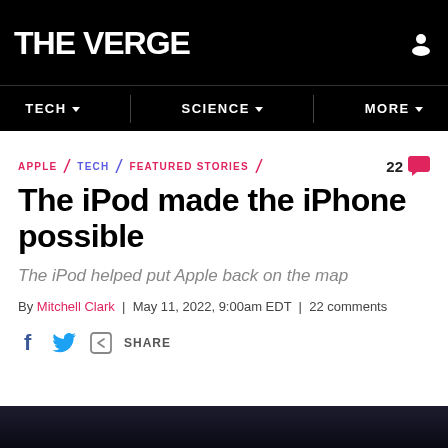THE VERGE
TECH | SCIENCE | MORE
APPLE \ TECH \ FEATURED STORIES
The iPod made the iPhone possible
The iPod helped put Apple back on the map
By Mitchell Clark | May 11, 2022, 9:00am EDT | 22 comments
SHARE